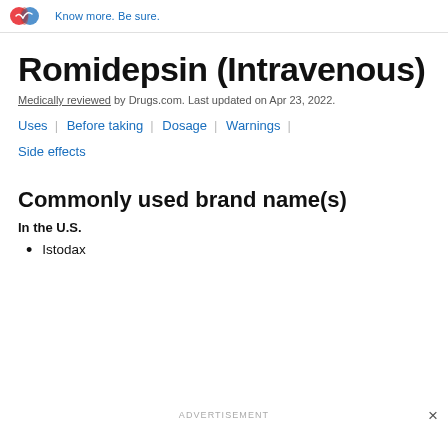Know more. Be sure.
Romidepsin (Intravenous)
Medically reviewed by Drugs.com. Last updated on Apr 23, 2022.
Uses | Before taking | Dosage | Warnings | Side effects
Commonly used brand name(s)
In the U.S.
Istodax
ADVERTISEMENT